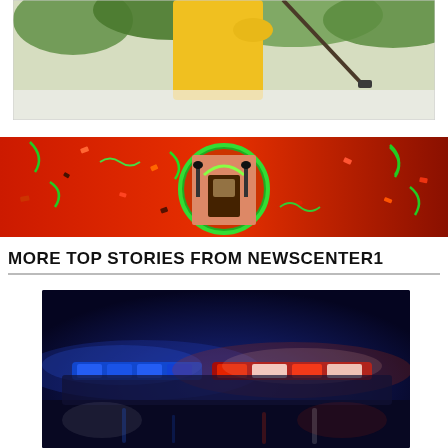[Figure (photo): Partial view of person wearing yellow shirt holding a golf club or similar implement, outdoors with green foliage background]
[Figure (photo): Red banner/advertisement showing a house door with festive confetti decoration and green circle frame around the door]
MORE TOP STORIES FROM NEWSCENTER1
[Figure (photo): Police car with blue and red flashing emergency lights at night, blurred background]